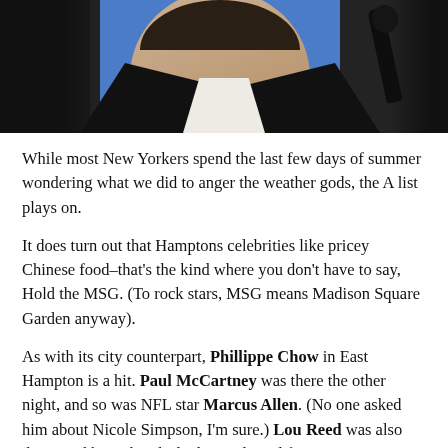[Figure (photo): Close-up photo of a man in a dark jacket with white shirt, blue background, microphone visible to the right]
While most New Yorkers spend the last few days of summer wondering what we did to anger the weather gods, the A list plays on.
It does turn out that Hamptons celebrities like pricey Chinese food–that's the kind where you don't have to say, Hold the MSG. (To rock stars, MSG means Madison Square Garden anyway).
As with its city counterpart, Phillippe Chow in East Hampton is a hit. Paul McCartney was there the other night, and so was NFL star Marcus Allen. (No one asked him about Nicole Simpson, I'm sure.) Lou Reed was also there, and brought a little dog to dine al fresco.
Meanwhile, in New York, singer Rihanna showed up at the